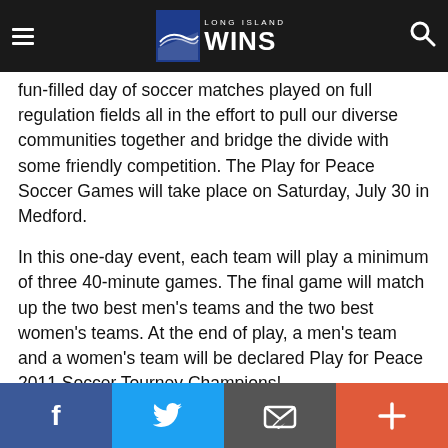Long Island Wins
fun-filled day of soccer matches played on full regulation fields all in the effort to pull our diverse communities together and bridge the divide with some friendly competition. The Play for Peace Soccer Games will take place on Saturday, July 30 in Medford.
In this one-day event, each team will play a minimum of three 40-minute games. The final game will match up the two best men's teams and the two best women's teams. At the end of play, a men's team and a women's team will be declared Play for Peace 2011 Soccer Tourney Champions!
Leg. Eddington's office is signing up teams right now. The goal is to fill out 16 men's teams and 8 women's teams. The deadline
Facebook  Twitter  Email  +